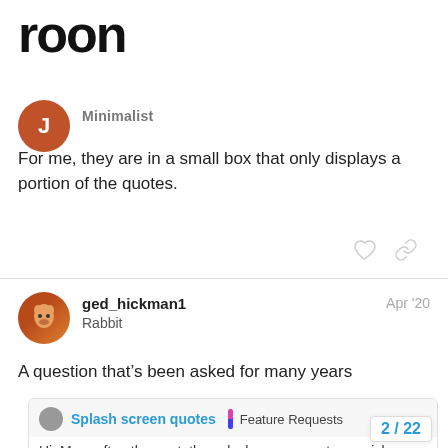[Figure (logo): roon logo in large black text]
Minimalist
For me, they are in a small box that only displays a portion of the quotes.
ged_hickman1
Rabbit
Apr '20
A question that’s been asked for many years
Splash screen quotes | Feature Requests
Hi, More often than not, the splash screen quotes vanish before I can read them. I understand the splash screen oughtn't be there more time than needed. But it's frustrating not being able to read the whole senten anywhere else. I don't have a suggestio
2 / 22